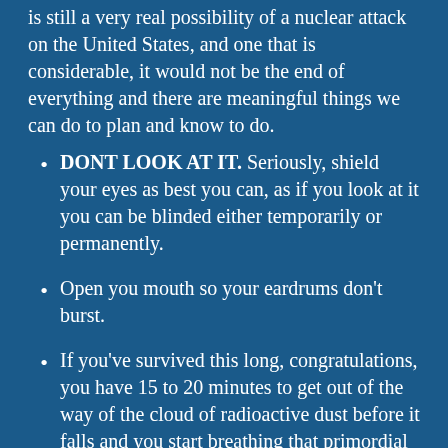is still a very real possibility of a nuclear attack on the United States, and one that is considerable, it would not be the end of everything and there are meaningful things we can do to plan and know to do.
DONT LOOK AT IT. Seriously, shield your eyes as best you can, as if you look at it you can be blinded either temporarily or permanently.
Open you mouth so your eardrums don't burst.
If you've survived this long, congratulations, you have 15 to 20 minutes to get out of the way of the cloud of radioactive dust before it falls and you start breathing that primordial shit in. If you are downwind of where the blast occurred and can flee, do so perpendicular to the wind. If you can't you will want to shelter in place either in a basement or above the 9th floor of a solid looking structure.